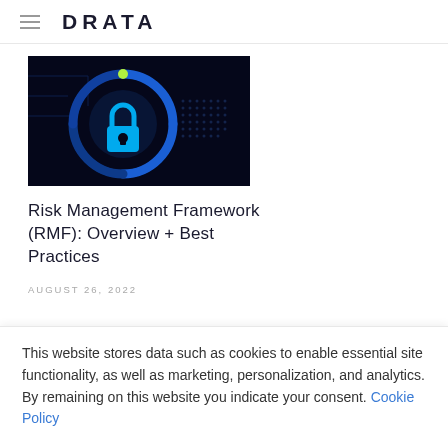DRATA
[Figure (illustration): Dark navy/black background with a glowing blue circular dial/spinner and a bright cyan padlock icon in the center, suggesting cybersecurity theme. Dotted pattern on the right side.]
Risk Management Framework (RMF): Overview + Best Practices
AUGUST 26, 2022
This website stores data such as cookies to enable essential site functionality, as well as marketing, personalization, and analytics. By remaining on this website you indicate your consent. Cookie Policy